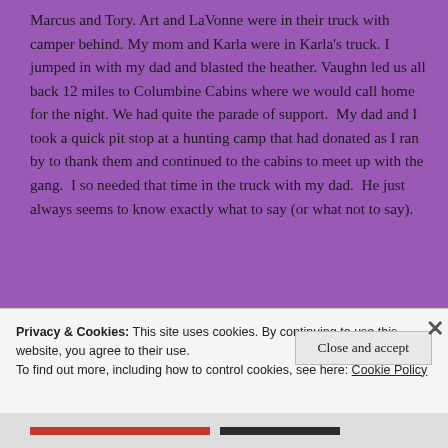Marcus and Tory. Art and LaVonne were in their truck with camper behind. My mom and Karla were in Karla's truck. I jumped in with my dad and blasted the heather. Vaughn led us all back 12 miles to Columbine Cabins where we would call home for the night. We had quite the parade of support.  My dad and I took a quick pit stop at a hunting camp that had donated as I ran by to thank them and continued to the cabins to meet up with the gang.  I so needed that time in the truck with my dad.  He just always seems to know exactly what to say (or what not to say).
Privacy & Cookies: This site uses cookies. By continuing to use this website, you agree to their use.
To find out more, including how to control cookies, see here: Cookie Policy
Close and accept